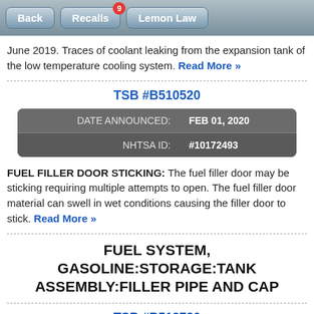Back | Recalls (9) | Lemon Law
June 2019. Traces of coolant leaking from the expansion tank of the low temperature cooling system. Read More »
TSB #B510520
|  |  |
| --- | --- |
| DATE ANNOUNCED: | FEB 01, 2020 |
| NHTSA ID: | #10172493 |
FUEL FILLER DOOR STICKING: The fuel filler door may be sticking requiring multiple attempts to open. The fuel filler door material can swell in wet conditions causing the filler door to stick. Read More »
FUEL SYSTEM, GASOLINE:STORAGE:TANK ASSEMBLY:FILLER PIPE AND CAP
TSB #B512720